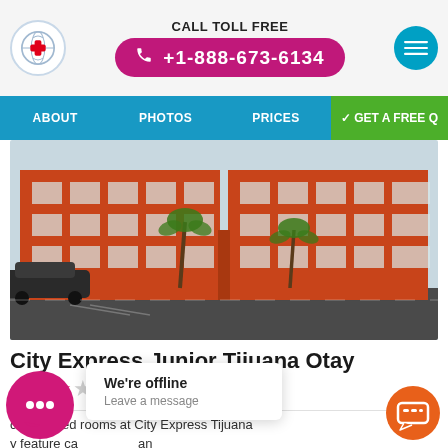CALL TOLL FREE +1-888-673-6134
ABOUT  PHOTOS  PRICES  GET A FREE Q
[Figure (photo): Exterior photo of City Express Junior Tijuana Otay hotel building — red/orange multi-story structure with palm trees and parking area]
City Express Junior Tijuana Otay
★★★☆☆ (3 out of 5 stars)
conditioned rooms at City Express Tijuana feature ca... an cable TV. There ... e bathroom comes with a shower.
We're offline
Leave a message